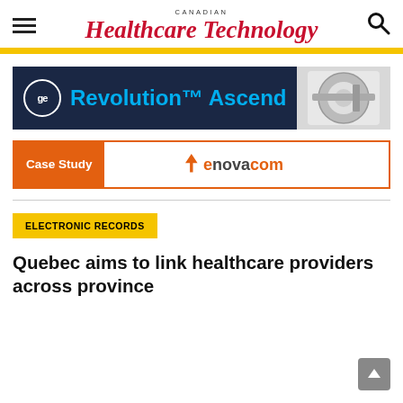Canadian Healthcare Technology
[Figure (infographic): GE Revolution™ Ascend advertisement banner with GE logo on dark navy background and CT scanner image on right]
[Figure (logo): Case Study banner with orange label on left and Enovacom logo on white background on right]
ELECTRONIC RECORDS
Quebec aims to link healthcare providers across province